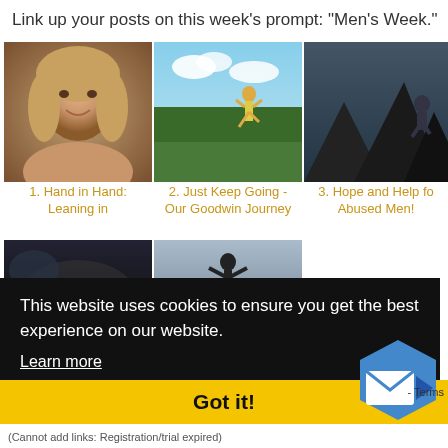Link up your posts on this week's prompt: "Men's Week."
[Figure (photo): Portrait photo of a woman with wavy blonde hair smiling]
1. Hand in Hand: Leaning in
[Figure (photo): Person in yellow shirt running through a green field under a blue sky]
2. Just Keep Going - Our Goodwin Journey
[Figure (photo): Silhouette of a person against rocky mountain backdrop in dark tones]
3. Hope and Help for Abused Men!
[Figure (photo): Partial view of a dark stormy scene]
[Figure (photo): Silhouette of a person with arms outstretched against a light background]
This website uses cookies to ensure you get the best experience on our website.
Learn more
Got it!
(Cannot add links: Registration/trial expired)